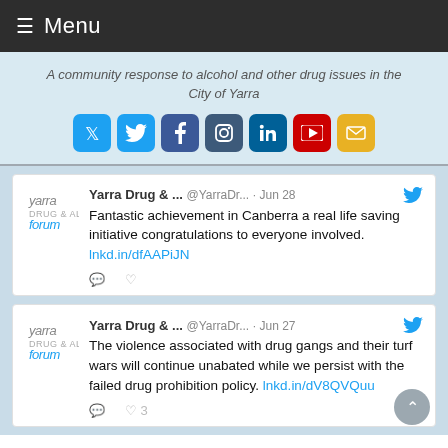≡ Menu
A community response to alcohol and other drug issues in the City of Yarra
[Figure (other): Social media icon buttons: Twitter, Facebook, Instagram, LinkedIn, YouTube, Email]
Yarra Drug & ... @YarraDr... · Jun 28 — Fantastic achievement in Canberra a real life saving initiative congratulations to everyone involved. lnkd.in/dfAAPiJN
Yarra Drug & ... @YarraDr... · Jun 27 — The violence associated with drug gangs and their turf wars will continue unabated while we persist with the failed drug prohibition policy. lnkd.in/dV8QVQuu